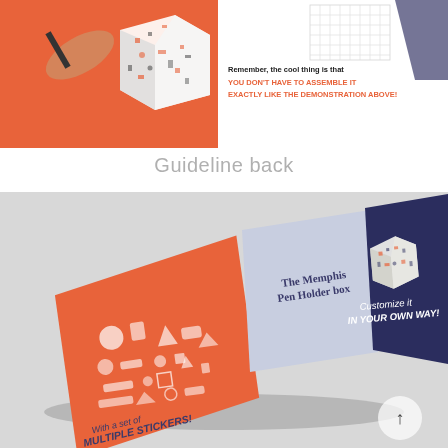[Figure (photo): Top portion of a document page showing an orange background illustration of hands decorating a box with stickers/patterns on the left, and on the right text reading 'Remember, the cool thing is that YOU DON'T HAVE TO ASSEMBLE IT EXACTLY LIKE THE DEMONSTRATION ABOVE!' with a wireframe box illustration above the text.]
Guideline back
[Figure (photo): Photo of a trifold brochure/guideline booklet laid flat on a gray surface. The booklet shows: left panel in orange/salmon color with Memphis-style geometric sticker illustrations and text 'With a set of MULTIPLE STICKERS!'; center panel in light blue/lavender with text 'The Memphis Pen Holder box'; right panel in dark navy blue with an illustration of the decorated box and text 'Customize it IN YOUR OWN WAY!'. A circular arrow-up navigation button is visible at the bottom right.]